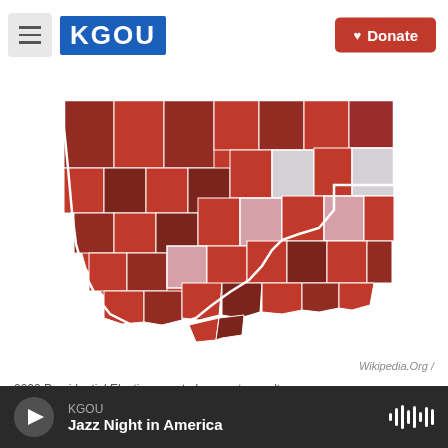[Figure (logo): KGOU radio station logo in blue rectangle with white bold text, city skyline photo background in header area]
[Figure (map): Oklahoma state map showing 2020 Presidential Election county-by-county results, mostly deep red counties with a few lighter pink/rose counties indicating Republican dominance across the state]
Wikipedia.Org /
2020 Presidential Election county-by-county results
As results rolled in on Election Night, November 3rd, Oklahoma Republicans scored more big wins and solidified their hold on the state's politics.
KGOU
Jazz Night in America